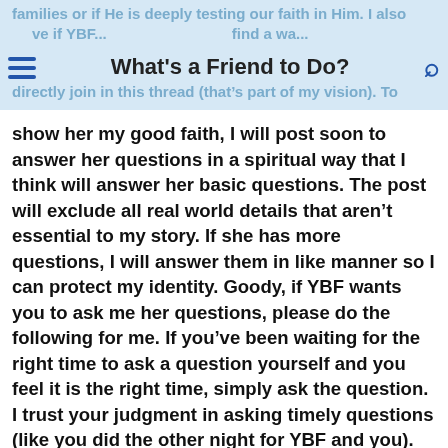families or if He is deeply testing our faith in Him. I also believe if YBF... find a way... directly join in this thread (that's part of my vision). To
What's a Friend to Do?
show her my good faith, I will post soon to answer her questions in a spiritual way that I think will answer her basic questions. The post will exclude all real world details that aren't essential to my story. If she has more questions, I will answer them in like manner so I can protect my identity. Goody, if YBF wants you to ask me her questions, please do the following for me. If you've been waiting for the right time to ask a question yourself and you feel it is the right time, simply ask the question. I trust your judgment in asking timely questions (like you did the other night for YBF and you). Otherwise, if you wouldn't have asked a question from YBF, simply clarify that it is her question. I'll try to answer the questions in the same way, regardless who asks. I think it will be less confusing for our friendship